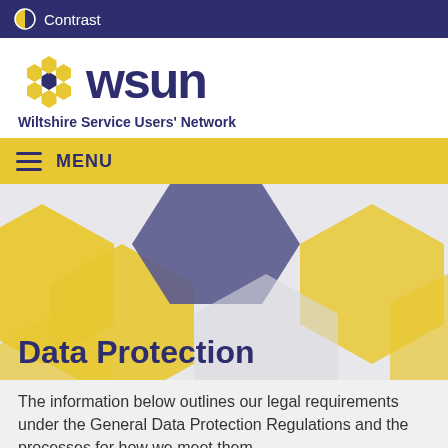Contrast
[Figure (logo): WSUN - Wiltshire Service Users' Network logo with hexagonal beehive icon in gold and purple, and bold purple text 'wsun' wordmark with tagline 'Wiltshire Service Users' Network']
MENU
[Figure (illustration): Decorative hexagonal pattern background with yellow/gold and purple/slate hexagons arranged across a light grey background]
Data Protection
The information below outlines our legal requirements under the General Data Protection Regulations and the processes for how we meet them.